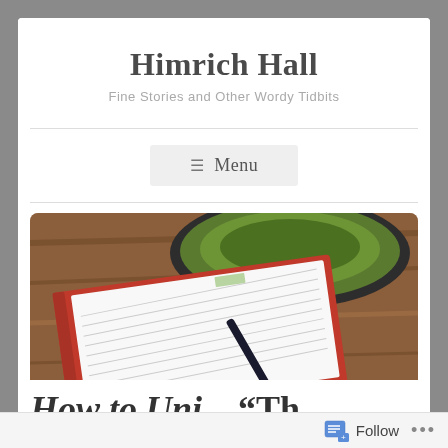Himrich Hall
Fine Stories and Other Wordy Tidbits
≡  Menu
[Figure (photo): Photo of an open notebook with lined pages and a pen, beside a green bowl/cup on a wooden table surface]
How to Uni... "Th...
Follow ...